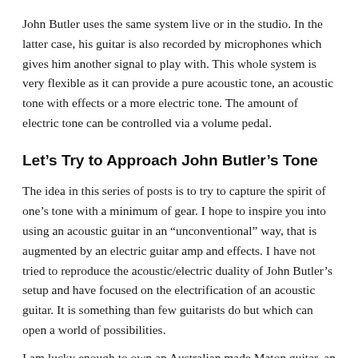John Butler uses the same system live or in the studio. In the latter case, his guitar is also recorded by microphones which gives him another signal to play with. This whole system is very flexible as it can provide a pure acoustic tone, an acoustic tone with effects or a more electric tone. The amount of electric tone can be controlled via a volume pedal.
Let’s Try to Approach John Butler’s Tone
The idea in this series of posts is to try to capture the spirit of one’s tone with a minimum of gear. I hope to inspire you into using an acoustic guitar in an “unconventional” way, that is augmented by an electric guitar amp and effects. I have not tried to reproduce the acoustic/electric duality of John Butler’s setup and have focused on the electrification of an acoustic guitar. It is something than few guitarists do but which can open a world of possibilities.
I am lucky enough to own an Australian made Maton guitar, an